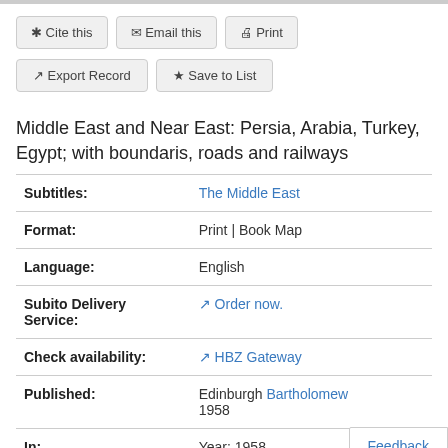* Cite this  ✉ Email this  🖨 Print  ↗ Export Record  ★ Save to List
Middle East and Near East: Persia, Arabia, Turkey, Egypt; with boundaris, roads and railways
| Field | Value |
| --- | --- |
| Subtitles: | The Middle East |
| Format: | Print | Book Map |
| Language: | English |
| Subito Delivery Service: | Order now. |
| Check availability: | HBZ Gateway |
| Published: | Edinburgh Bartholomew 1958 |
| In: | Year: 1958 |
Feedback